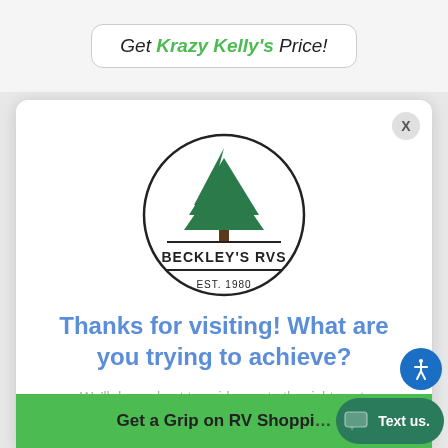[Figure (illustration): Advertisement banner: 'Get Krazy Kelly's Price!' with green text for 'Krazy Kelly's' and person in background]
[Figure (logo): Beckley's RVs circular logo with pine tree, text BECKLEY'S RVS and EST. 1980]
Thanks for visiting! What are you trying to achieve?
We'll do our best to guide you to the right spot.
Get a Grip on RV Shopping